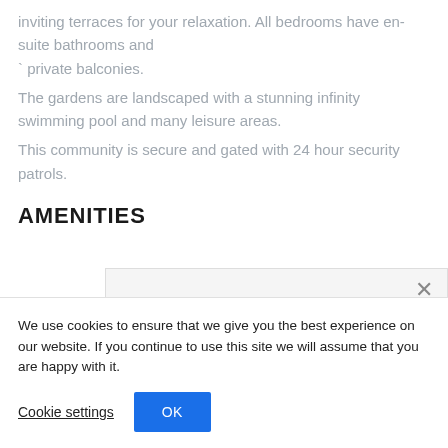inviting terraces for your relaxation. All bedrooms have en-suite bathrooms and ` private balconies.
The gardens are landscaped with a stunning infinity swimming pool and many leisure areas.
This community is secure and gated with 24 hour security patrols.
AMENITIES
We use cookies to ensure that we give you the best experience on our website. If you continue to use this site we will assume that you are happy with it.
Cookie settings  OK